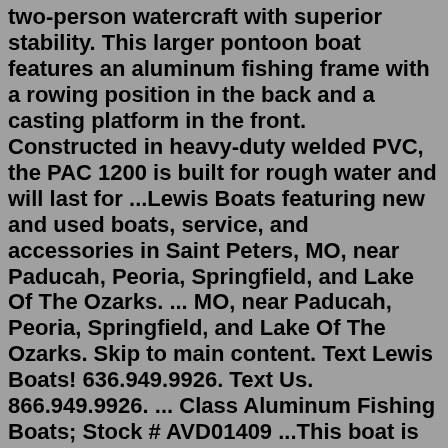two-person watercraft with superior stability. This larger pontoon boat features an aluminum fishing frame with a rowing position in the back and a casting platform in the front. Constructed in heavy-duty welded PVC, the PAC 1200 is built for rough water and will last for ...Lewis Boats featuring new and used boats, service, and accessories in Saint Peters, MO, near Paducah, Peoria, Springfield, and Lake Of The Ozarks. ... MO, near Paducah, Peoria, Springfield, and Lake Of The Ozarks. Skip to main content. Text Lewis Boats! 636.949.9926. Text Us. 866.949.9926. ... Class Aluminum Fishing Boats; Stock # AVD01409 ...This boat is located in Manchester, Wi 53946 near the intersection of hwy 73 & hwy 44 1985 14 ft. Aluminum Lund Fishing Boat $3,700 Woodbridge, New Jersey Year 1985 Make Lund Model 14 Ft. Category - Length 14 ft Posted Over 1 Month 14 ft.Aluminum Lund Outboard Fishing Boat Year 1985. Good restored condition comes with trailer and many extras. 1.Part of Sale: Quintrex and Proline Boats. Lot No: 0001-20020515.